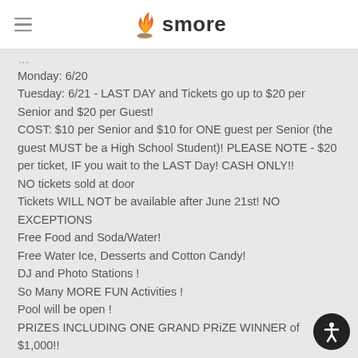smore
Monday: 6/20
Tuesday: 6/21 - LAST DAY and Tickets go up to $20 per Senior and $20 per Guest!
COST: $10 per Senior and $10 for ONE guest per Senior (the guest MUST be a High School Student)! PLEASE NOTE - $20 per ticket, IF you wait to the LAST Day! CASH ONLY!!
NO tickets sold at door
Tickets WILL NOT be available after June 21st! NO EXCEPTIONS
Free Food and Soda/Water!
Free Water Ice, Desserts and Cotton Candy!
DJ and Photo Stations !
So Many MORE FUN Activities !
Pool will be open !
PRIZES INCLUDING ONE GRAND PRiZE WINNER of $1,000!!